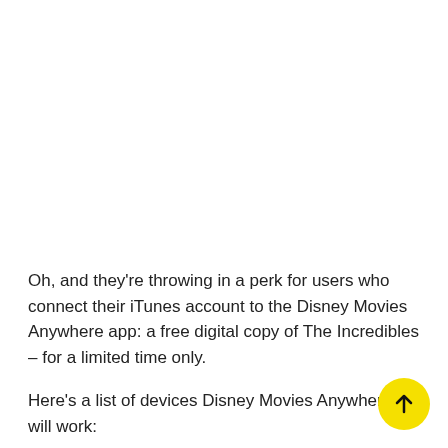Oh, and they're throwing in a perk for users who connect their iTunes account to the Disney Movies Anywhere app: a free digital copy of The Incredibles – for a limited time only.
Here's a list of devices Disney Movies Anywhere will work:
iPhone
iPad